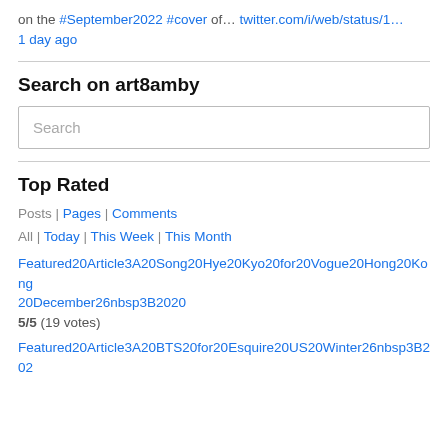on the #September2022 #cover of… twitter.com/i/web/status/1…
1 day ago
Search on art8amby
Search
Top Rated
Posts | Pages | Comments
All | Today | This Week | This Month
Featured20Article3A20Song20Hye20Kyo20for20Vogue20Hong20Kong20December26nbsp3B2020
5/5 (19 votes)
Featured20Article3A20BTS20for20Esquire20US20Winter26nbsp3B202